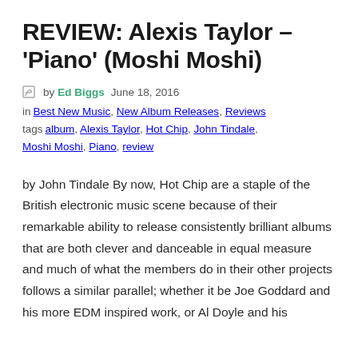REVIEW: Alexis Taylor – 'Piano' (Moshi Moshi)
by Ed Biggs  June 18, 2016
in Best New Music, New Album Releases, Reviews tags album, Alexis Taylor, Hot Chip, John Tindale, Moshi Moshi, Piano, review
by John Tindale By now, Hot Chip are a staple of the British electronic music scene because of their remarkable ability to release consistently brilliant albums that are both clever and danceable in equal measure and much of what the members do in their other projects follows a similar parallel; whether it be Joe Goddard and his more EDM inspired work, or Al Doyle and his